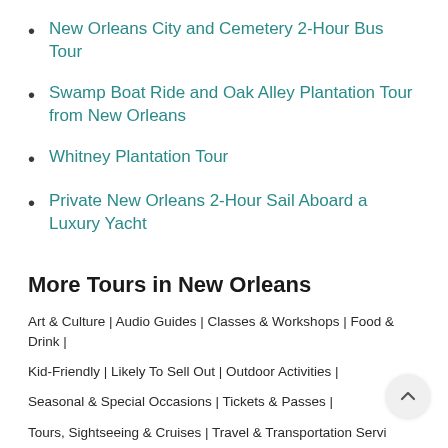New Orleans City and Cemetery 2-Hour Bus Tour
Swamp Boat Ride and Oak Alley Plantation Tour from New Orleans
Whitney Plantation Tour
Private New Orleans 2-Hour Sail Aboard a Luxury Yacht
More Tours in New Orleans
Art & Culture | Audio Guides | Classes & Workshops | Food & Drink | Kid-Friendly | Likely To Sell Out | Outdoor Activities | Seasonal & Special Occasions | Tickets & Passes | Tours, Sightseeing & Cruises | Travel & Transportation Servi Unique Experiences